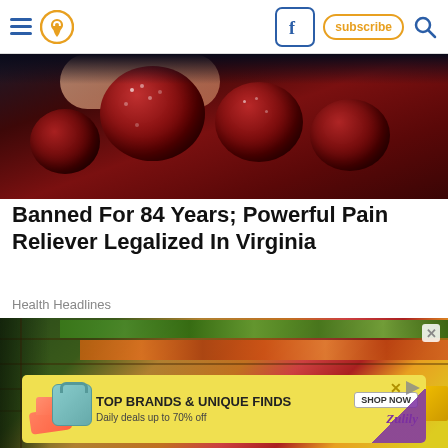[Figure (screenshot): Website navigation bar with hamburger menu, location pin icon, Facebook icon, subscribe button, and search icon]
[Figure (photo): Close-up photo of dark red/burgundy fruits (possibly frozen berries or gummies) held in a hand]
Banned For 84 Years; Powerful Pain Reliever Legalized In Virginia
Health Headlines
[Figure (photo): Photo of a grocery store produce aisle with colorful vegetables and fruits on display shelves]
[Figure (screenshot): Advertisement banner: TOP BRANDS & UNIQUE FINDS, Daily deals up to 70% off, SHOP NOW, Zulily]